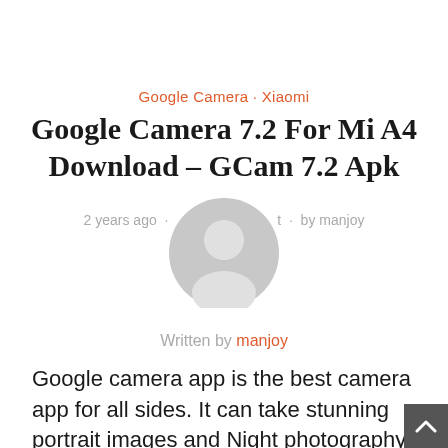Google Camera · Xiaomi
Google Camera 7.2 For Mi A4 Download – GCam 7.2 Apk
2 years ago · [avatar] · by manjoy
[Figure (illustration): Gray circular avatar placeholder with silhouette of a person]
Written by manjoy
Google camera app is the best camera app for all sides. It can take stunning portrait images and Night photography makes awesome. in recent update Google